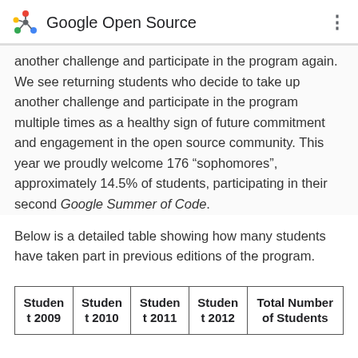Google Open Source
another challenge and participate in the program again. We see returning students who decide to take up another challenge and participate in the program multiple times as a healthy sign of future commitment and engagement in the open source community. This year we proudly welcome 176 “sophomores”, approximately 14.5% of students, participating in their second Google Summer of Code.
Below is a detailed table showing how many students have taken part in previous editions of the program.
| Student 2009 | Student 2010 | Student 2011 | Student 2012 | Total Number of Students |
| --- | --- | --- | --- | --- |